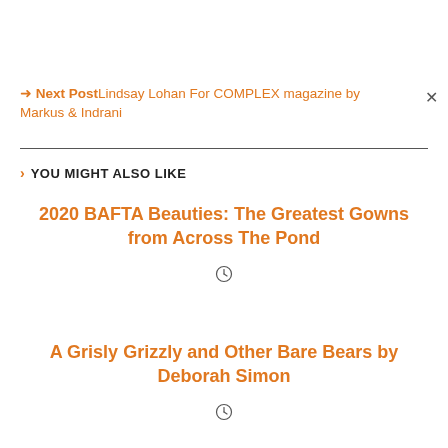→ Next Post Lindsay Lohan For COMPLEX magazine by Markus & Indrani
YOU MIGHT ALSO LIKE
2020 BAFTA Beauties: The Greatest Gowns from Across The Pond
A Grisly Grizzly and Other Bare Bears by Deborah Simon